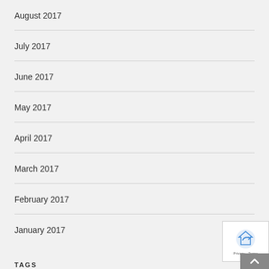August 2017
July 2017
June 2017
May 2017
April 2017
March 2017
February 2017
January 2017
TAGS
AWARD WINNERS WEDDING PLANNERS